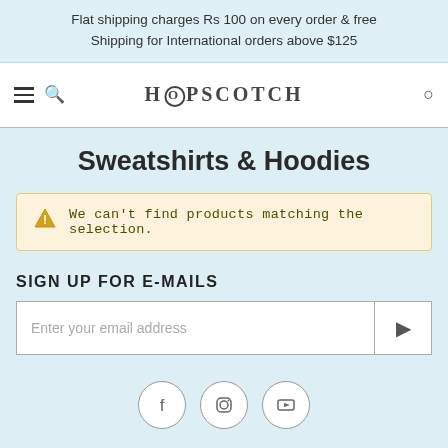Flat shipping charges Rs 100 on every order & free Shipping for International orders above $125
[Figure (screenshot): Hopscotch website navigation bar with hamburger menu, search icon, HOPSCOTCH logo, and cart icon]
Sweatshirts & Hoodies
We can't find products matching the selection.
SIGN UP FOR E-MAILS
Enter your email address
[Figure (infographic): Social media icons: Facebook, Instagram, YouTube]